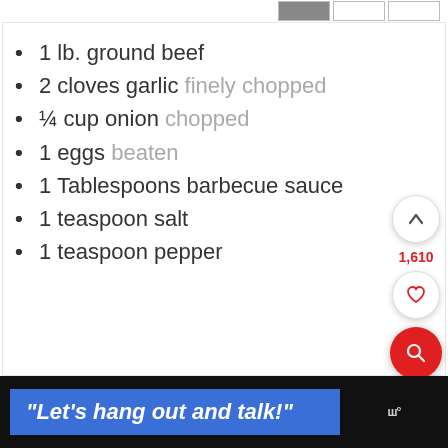1 lb. ground beef
2 cloves garlic finely chopped
¼ cup onion chopped
1 eggs beaten
1 Tablespoons barbecue sauce
1 teaspoon salt
1 teaspoon pepper
1,610
“Let’s hang out and talk!”